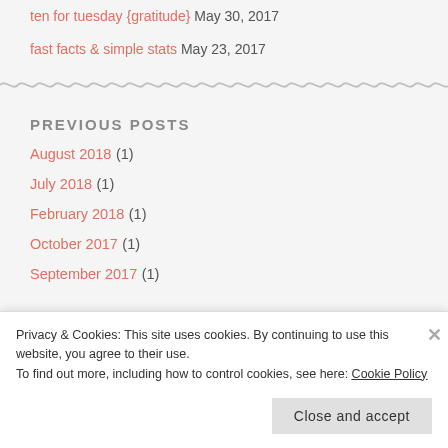ten for tuesday {gratitude} May 30, 2017
fast facts & simple stats May 23, 2017
PREVIOUS POSTS
August 2018 (1)
July 2018 (1)
February 2018 (1)
October 2017 (1)
September 2017 (1)
Privacy & Cookies: This site uses cookies. By continuing to use this website, you agree to their use. To find out more, including how to control cookies, see here: Cookie Policy
Close and accept